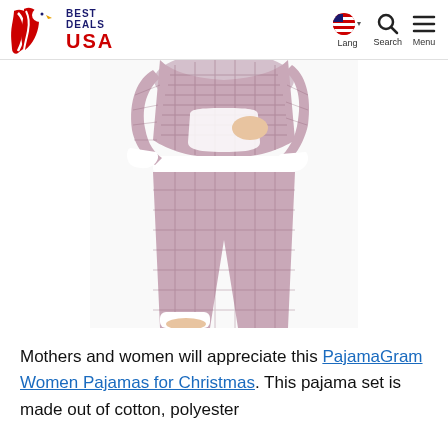Best Deals USA — Lang | Search | Menu
[Figure (photo): Woman wearing a patterned purple and white pajama set — matching top with kangaroo pocket and jogger-style bottoms, shown from waist down]
Mothers and women will appreciate this PajamaGram Women Pajamas for Christmas. This pajama set is made out of cotton, polyester